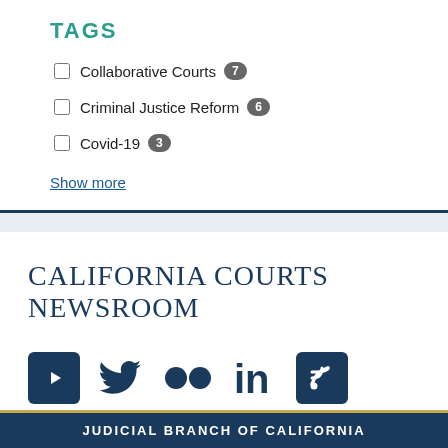TAGS
Collaborative Courts 7
Criminal Justice Reform 6
Covid-19 3
Show more
CALIFORNIA COURTS NEWSROOM
[Figure (logo): Social media icons row: YouTube, Twitter, Flickr, LinkedIn, RSS feed]
JUDICIAL BRANCH OF CALIFORNIA